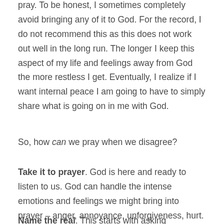pray. To be honest, I sometimes completely avoid bringing any of it to God. For the record, I do not recommend this as this does not work out well in the long run. The longer I keep this aspect of my life and feelings away from God the more restless I get. Eventually, I realize if I want internal peace I am going to have to simply share what is going on in me with God.
So, how can we pray when we disagree?
Take it to prayer. God is here and ready to listen to us. God can handle the intense emotions and feelings we might bring into prayer – anger, annoyance, unforgiveness, hurt.
Name the real. This starts with asking